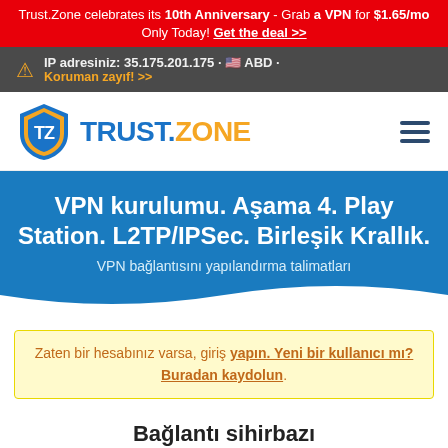Trust.Zone celebrates its 10th Anniversary - Grab a VPN for $1.65/mo Only Today! Get the deal >>
IP adresiniz: 35.175.201.175 · ABD · Koruman zayıf! >>
[Figure (logo): Trust.Zone logo with shield icon and text TRUST.ZONE]
VPN kurulumu. Aşama 4. Play Station. L2TP/IPSec. Birleşik Krallık.
VPN bağlantısını yapılandırma talimatları
Zaten bir hesabınız varsa, giriş yapın. Yeni bir kullanıcı mı? Buradan kaydolun.
Bağlantı sihirbazı